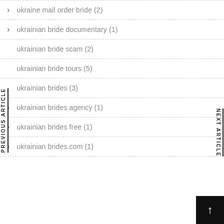ukraine mail order bride (2)
ukrainian bride documentary (1)
ukrainian bride scam (2)
ukrainian bride tours (5)
ukrainian brides (3)
ukrainian brides agency (1)
ukrainian brides free (1)
ukrainian brides.com (1)